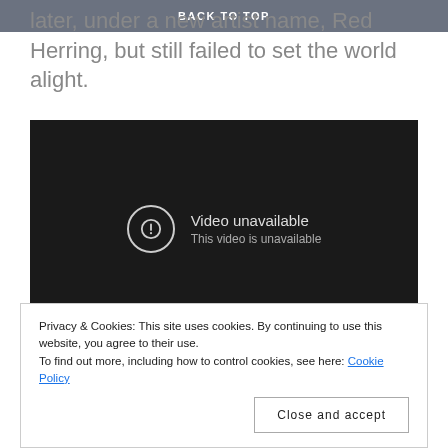BACK TO TOP
later, under a new artist name, Red Herring, but still failed to set the world alight.
[Figure (screenshot): Embedded video player showing 'Video unavailable — This video is unavailable' message on a dark background.]
Privacy & Cookies: This site uses cookies. By continuing to use this website, you agree to their use.
To find out more, including how to control cookies, see here: Cookie Policy
Close and accept